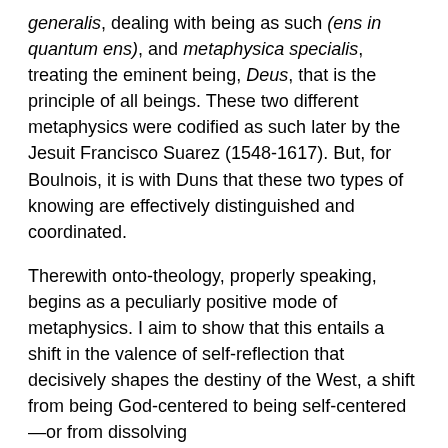generalis, dealing with being as such (ens in quantum ens), and metaphysica specialis, treating the eminent being, Deus, that is the principle of all beings. These two different metaphysics were codified as such later by the Jesuit Francisco Suarez (1548-1617). But, for Boulnois, it is with Duns that these two types of knowing are effectively distinguished and coordinated.
Therewith onto-theology, properly speaking, begins as a peculiarly positive mode of metaphysics. I aim to show that this entails a shift in the valence of self-reflection that decisively shapes the destiny of the West, a shift from being God-centered to being self-centered—or from dissolving
the self in the Unfathomable to distilling everything into the self's own conscious purview, a self-imposed, willfully invented structure. This shift sows the seed of a separate, objective knowledge of finite things in the world by a subject eventually considering itself, too, as just another objective